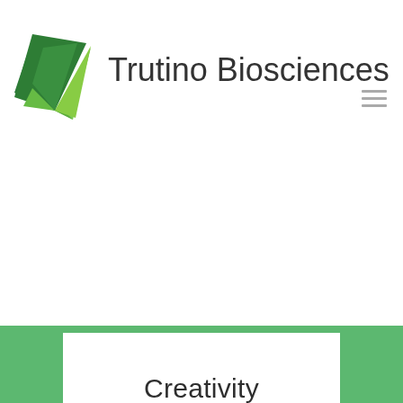[Figure (logo): Trutino Biosciences logo: a green leaf/diamond geometric shape in dark and light green, with text 'Trutino Biosciences']
Creativity
We are passionnate
[Figure (illustration): Partial view of a circular icon/illustration at the bottom of the page on a white card with green border framing]